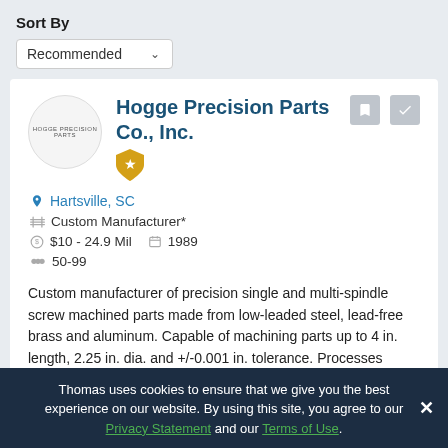Sort By
Recommended
Hogge Precision Parts Co., Inc.
Hartsville, SC
Custom Manufacturer*
$10 - 24.9 Mil   1989
50-99
Custom manufacturer of precision single and multi-spindle screw machined parts made from low-leaded steel, lead-free brass and aluminum. Capable of machining parts up to 4 in. length, 2.25 in. dia. and +/-0.001 in. tolerance. Processes
More +
Thomas uses cookies to ensure that we give you the best experience on our website. By using this site, you agree to our Privacy Statement and our Terms of Use.